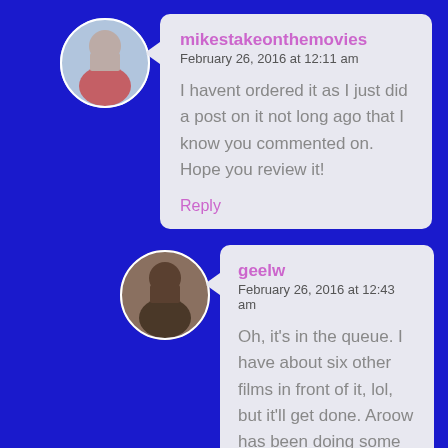[Figure (photo): Circular avatar photo of mikestakeonthemovies user, person in red shirt]
mikestakeonthemovies
February 26, 2016 at 12:11 am

I havent ordered it as I just did a post on it not long ago that I know you commented on. Hope you review it!

Reply
[Figure (photo): Circular avatar photo of geelw user, older man]
geelw
February 26, 2016 at 12:43 am

Oh, it's in the queue. I have about six other films in front of it, lol, but it'll get done. Aroow has been doing some